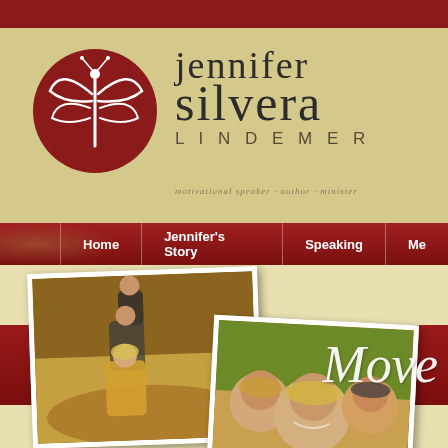[Figure (screenshot): Top dark red bar]
[Figure (logo): Jennifer Silvera Lindemer logo with dragonfly in red circle and text]
[Figure (screenshot): Navigation bar with Home, Jennifer's Story, Speaking, Me menu items on dark red background]
[Figure (photo): Two overlapping polaroid-style family photos on cream background. Left photo shows three people (boy on top of two girls) in autumn outdoor setting. Right photo shows woman smiling with two children. Dark red banner strip behind photos with 'Move' text in white script.]